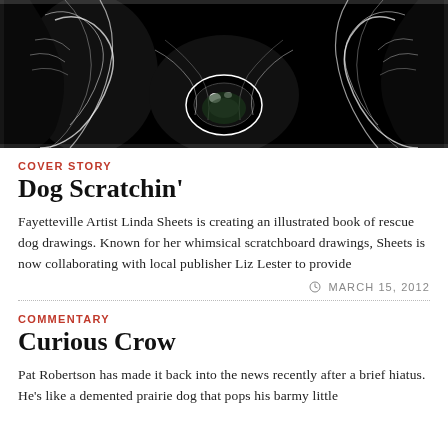[Figure (illustration): Black and white scratchboard illustration showing a close-up of a dog's belly/underside, with white line art on black background showing fur texture and a dog's navel/belly button area.]
COVER STORY
Dog Scratchin'
Fayetteville Artist Linda Sheets is creating an illustrated book of rescue dog drawings. Known for her whimsical scratchboard drawings, Sheets is now collaborating with local publisher Liz Lester to provide
MARCH 15, 2012
COMMENTARY
Curious Crow
Pat Robertson has made it back into the news recently after a brief hiatus. He's like a demented prairie dog that pops his barmy little